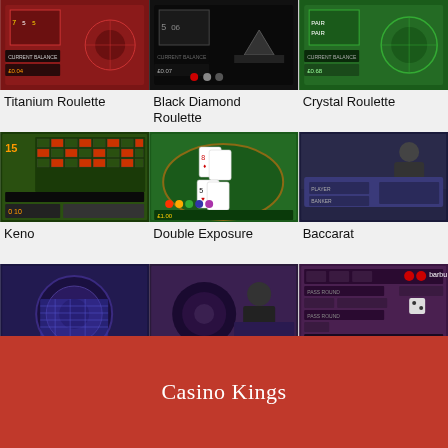[Figure (photo): Titanium Roulette game screenshot - red roulette table]
Titanium Roulette
[Figure (photo): Black Diamond Roulette game screenshot - black table]
Black Diamond Roulette
[Figure (photo): Crystal Roulette game screenshot - green table]
Crystal Roulette
[Figure (photo): Keno game screenshot - grid board]
Keno
[Figure (photo): Double Exposure game screenshot - card table]
Double Exposure
[Figure (photo): Baccarat game screenshot - live dealer]
Baccarat
[Figure (photo): Roulette game screenshot - purple roulette wheel]
roulette
[Figure (photo): Roulette game screenshot - live roulette]
roulette
[Figure (photo): Casino Barbut game screenshot - purple dice game]
Casino Barbut
[Figure (photo): Partial roulette thumbnail - purple/pink]
[Figure (photo): Partial roulette thumbnail - dark]
[Figure (photo): Partial thumbnail]
Casino Kings